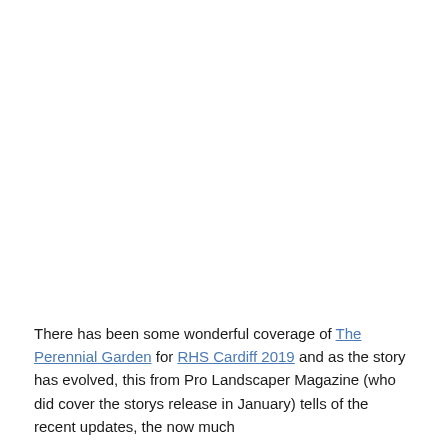There has been some wonderful coverage of The Perennial Garden for RHS Cardiff 2019 and as the story has evolved, this from Pro Landscaper Magazine (who did cover the storys release in January) tells of the recent updates, the now much